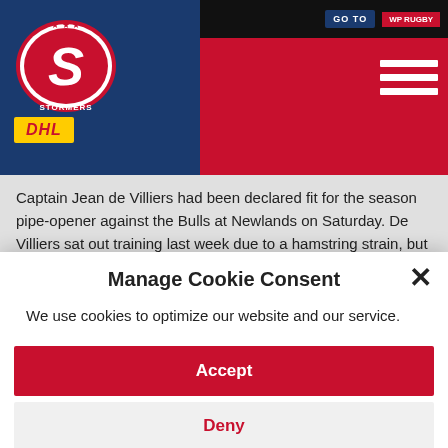[Figure (logo): Stormers rugby team logo with DHL sponsor logo on blue and red header background with hamburger menu icon]
Captain Jean de Villiers had been declared fit for the season pipe-opener against the Bulls at Newlands on Saturday. De Villiers sat out training last week due to a hamstring strain, but on Monday he took a full part in training – much to the delight of the coaching staff.
The centre will thus be leading out the team against the defending champions.
The bad news, however, was that fullback Conrad Jantjes was ruled
Manage Cookie Consent
We use cookies to optimize our website and our service.
Accept
Deny